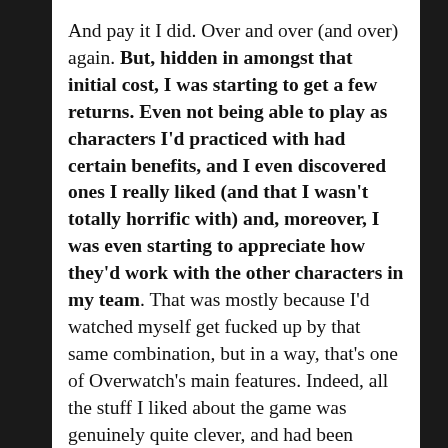And pay it I did. Over and over (and over) again. But, hidden in amongst that initial cost, I was starting to get a few returns. Even not being able to play as characters I'd practiced with had certain benefits, and I even discovered ones I really liked (and that I wasn't totally horrific with) and, moreover, I was even starting to appreciate how they'd work with the other characters in my team. That was mostly because I'd watched myself get fucked up by that same combination, but in a way, that's one of Overwatch's main features. Indeed, all the stuff I liked about the game was genuinely quite clever, and had been expertly woven into the fabric of it, and I could definitely see what all the fuss has been about. Sure, twitch-